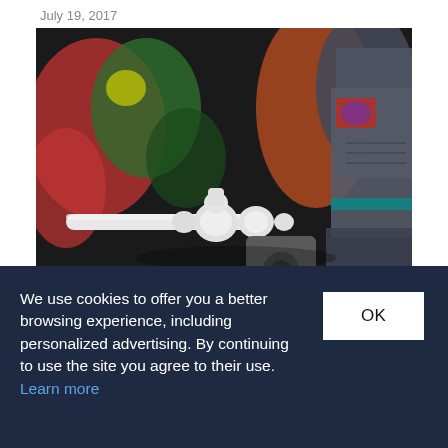July 19, 2017
[Figure (photo): Close-up photo of white Transformers toy weapon/accessory held by a gray robot figure, with colorful toy figures in the blurred background including red, green, and orange figures.]
We use cookies to offer you a better browsing experience, including personalized advertising. By continuing to use the site you agree to their use. Learn more